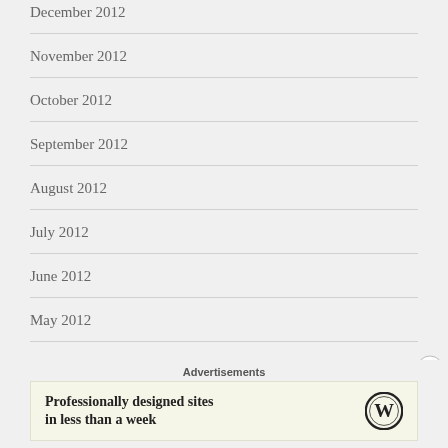December 2012
November 2012
October 2012
September 2012
August 2012
July 2012
June 2012
May 2012
Advertisements
[Figure (other): WordPress advertisement banner: 'Professionally designed sites in less than a week' with WordPress logo]